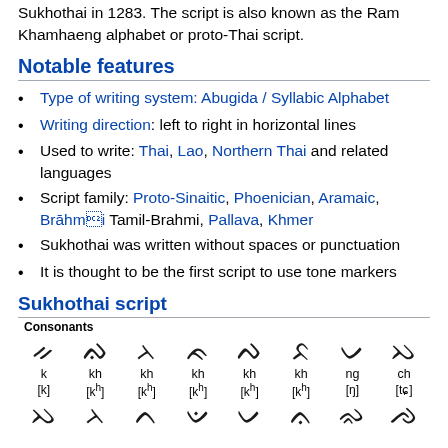Sukhothai in 1283. The script is also known as the Ram Khamhaeng alphabet or proto-Thai script.
Notable features
Type of writing system: Abugida / Syllabic Alphabet
Writing direction: left to right in horizontal lines
Used to write: Thai, Lao, Northern Thai and related languages
Script family: Proto-Sinaitic, Phoenician, Aramaic, Brāhmī, Tamil-Brahmi, Pallava, Khmer
Sukhothai was written without spaces or punctuation
It is thought to be the first script to use tone markers
Sukhothai script
Consonants
| char | roman | ipa | char | roman | ipa | char | roman | ipa | char | roman | ipa | char | roman | ipa | char | roman | ipa | char | roman | ipa | char | roman | ipa |
| --- | --- | --- | --- | --- | --- | --- | --- | --- | --- | --- | --- | --- | --- | --- | --- | --- | --- | --- | --- | --- | --- | --- | --- |
| 𑜀 | k | [k] | 𑜁 | kh | [kʰ] | 𑜂 | kh | [kʰ] | 𑜃 | kh | [kʰ] | 𑜄 | kh | [kʰ] | 𑜅 | kh | [kʰ] | 𑜆 | ng | [ŋ] | 𑜇 | ch | [tɕ] |
| 𑜈 |  |  | 𑜉 |  |  | 𑜊 |  |  | 𑜋 |  |  | 𑜌 |  |  | 𑜍 |  |  | 𑜎 |  |  | 𑜏 |  |  |